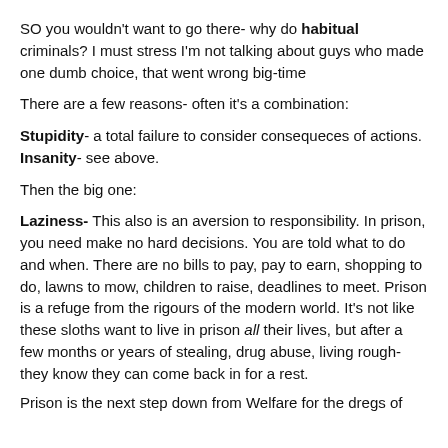SO you wouldn't want to go there- why do habitual criminals? I must stress I'm not talking about guys who made one dumb choice, that went wrong big-time
There are a few reasons- often it's a combination:
Stupidity- a total failure to consider consequeces of actions. Insanity- see above.
Then the big one:
Laziness- This also is an aversion to responsibility. In prison, you need make no hard decisions. You are told what to do and when. There are no bills to pay, pay to earn, shopping to do, lawns to mow, children to raise, deadlines to meet. Prison is a refuge from the rigours of the modern world. It's not like these sloths want to live in prison all their lives, but after a few months or years of stealing, drug abuse, living rough- they know they can come back in for a rest.
Prison is the next step down from Welfare for the dregs of